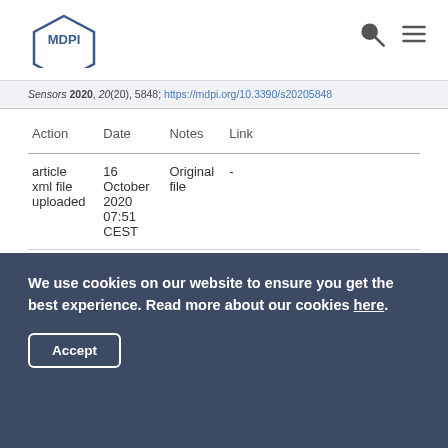MDPI logo, search icon, menu icon
Sensors 2020, 20(20), 5848; https://mdpi.org/10.3390/s20205848
| Action | Date | Notes | Link |
| --- | --- | --- | --- |
| article xml file uploaded | 16 October 2020 07:51 CEST | Original file | - |
| article xml updated | 16 October 2020 07:51 CEST | Update | https://www.mdpi.com/1424-8220/20/20/5848/xml |
We use cookies on our website to ensure you get the best experience. Read more about our cookies here.
Accept